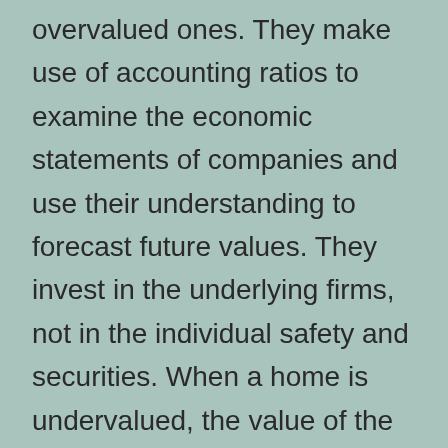overvalued ones. They make use of accounting ratios to examine the economic statements of companies and use their understanding to forecast future values. They invest in the underlying firms, not in the individual safety and securities. When a home is undervalued, the value of the business is greater. It is worth buying underestimated supplies if they are undervalued ones. investing in gold bars
If you intend to maintain your financial investments in the same firms, expand them as high as feasible. This will reduce the danger of